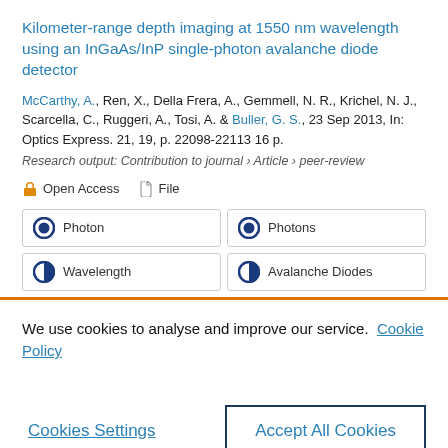Kilometer-range depth imaging at 1550 nm wavelength using an InGaAs/InP single-photon avalanche diode detector
McCarthy, A., Ren, X., Della Frera, A., Gemmell, N. R., Krichel, N. J., Scarcella, C., Ruggeri, A., Tosi, A. & Buller, G. S., 23 Sep 2013, In: Optics Express. 21, 19, p. 22098-22113 16 p.
Research output: Contribution to journal › Article › peer-review
Open Access   File
Photon
Photons
Wavelength
Avalanche Diodes
We use cookies to analyse and improve our service. Cookie Policy
Cookies Settings
Accept All Cookies